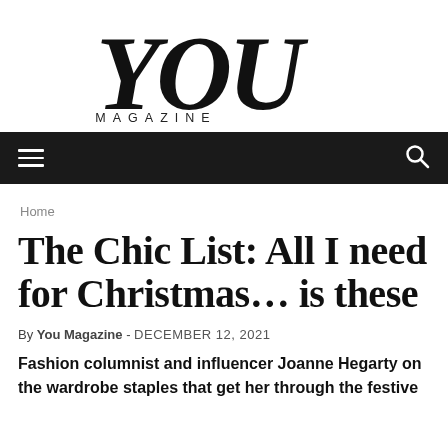YOU MAGAZINE
[Figure (logo): YOU Magazine logo with large serif italic 'YOU' text and 'MAGAZINE' in spaced capitals below]
Home
The Chic List: All I need for Christmas... is these
By You Magazine - DECEMBER 12, 2021
Fashion columnist and influencer Joanne Hegarty on the wardrobe staples that get her through the festive season...